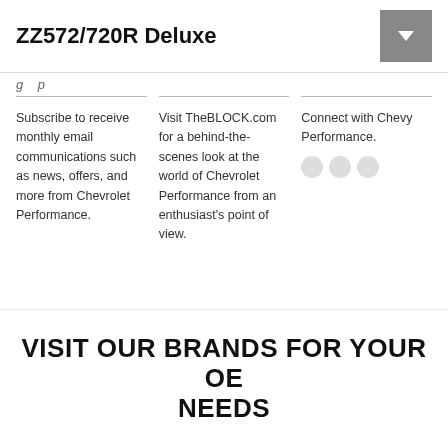ZZ572/720R Deluxe
Subscribe to receive monthly email communications such as news, offers, and more from Chevrolet Performance.
Visit TheBLOCK.com for a behind-the-scenes look at the world of Chevrolet Performance from an enthusiast's point of view.
Connect with Chevy Performance.
VISIT OUR BRANDS FOR YOUR OE NEEDS